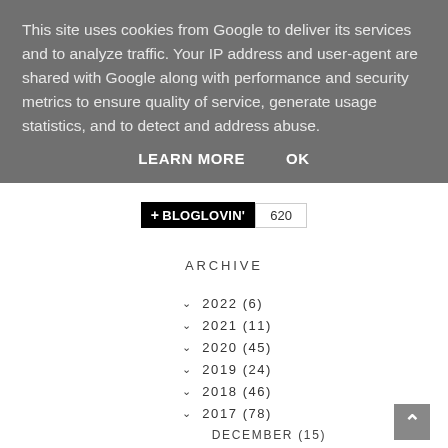This site uses cookies from Google to deliver its services and to analyze traffic. Your IP address and user-agent are shared with Google along with performance and security metrics to ensure quality of service, generate usage statistics, and to detect and address abuse.
LEARN MORE    OK
[Figure (other): Bloglovin follow button with count 620]
ARCHIVE
2022 (6)
2021 (11)
2020 (45)
2019 (24)
2018 (46)
2017 (78)
DECEMBER (15)
NOVEMBER (4)
OCTOBER (5)
SEPTEMBER (1)
AUGUST (7)